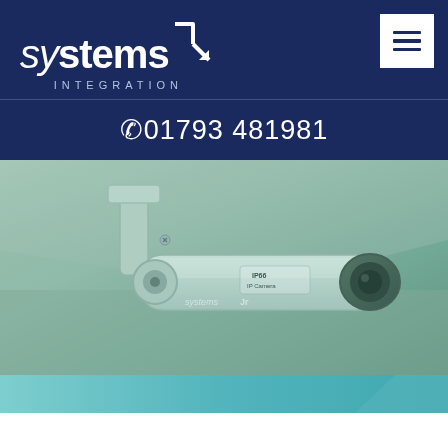[Figure (logo): Systems Integration company logo — white text on dark navy background, with 'systems' in mixed weight italic/bold and a stylized arrow/step icon, plus 'INTEGRATION' in spaced capitals below]
📞 01793 481981
[Figure (photo): Close-up photograph of a white IP66 IP Camera security camera mounted on a wall/ceiling bracket, branded with 'systems integration' logo. The image has a teal/green color overlay tint.]
[Figure (other): Teal/turquoise gradient bottom banner with a diagonal arrow shape on the right side]